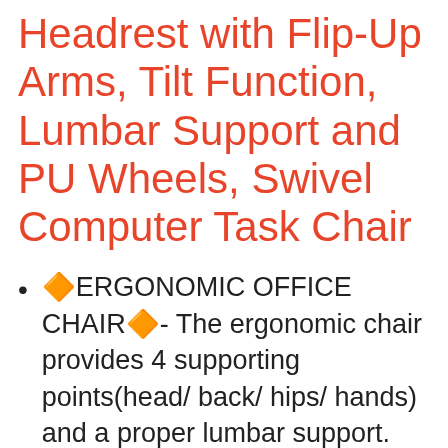Headrest with Flip-Up Arms, Tilt Function, Lumbar Support and PU Wheels, Swivel Computer Task Chair
🔶ERGONOMIC OFFICE CHAIR🔶- The ergonomic chair provides 4 supporting points(head/ back/ hips/ hands) and a proper lumbar support. It's easy to adjust seat height, headrest, backrest and flip-up arms to meet different needs, good for sitting long hours. Suitable